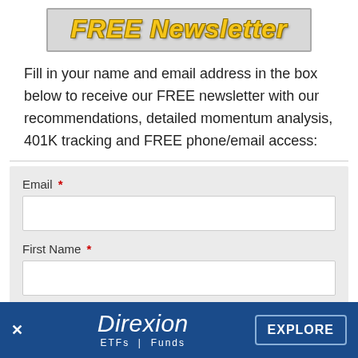FREE Newsletter
Fill in your name and email address in the box below to receive our FREE newsletter with our recommendations, detailed momentum analysis, 401K tracking and FREE phone/email access:
[Figure (infographic): Web form with Email and First Name fields, each with a text input box and a required field asterisk marker]
* Required Fields
[Figure (logo): Direxion ETFs | Funds advertisement banner at the bottom with an EXPLORE button and a close (x) button]